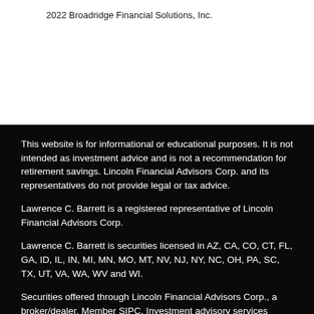2022 Broadridge Financial Solutions, Inc.
This website is for informational or educational purposes. It is not intended as investment advice and is not a recommendation for retirement savings. Lincoln Financial Advisors Corp. and its representatives do not provide legal or tax advice.
Lawrence C. Barrett is a registered representative of Lincoln Financial Advisors Corp.
Lawrence C. Barrett is securities licensed in AZ, CA, CO, CT, FL, GA, ID, IL, IN, MI, MN, MO, MT, NV, NJ, NY, NC, OH, PA, SC, TX, UT, VA, WA, WV and WI.
Securities offered through Lincoln Financial Advisors Corp., a broker/dealer. Member SIPC. Investment advisory services offered through Sagemark Consulting, a division of